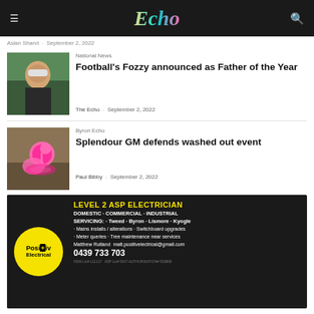Echo
Aslan Shand  -  September 2, 2022
National News
Football's Fozzy announced as Father of the Year
The Echo  -  September 2, 2022
Byron Echo
Splendour GM defends washed out event
Paul Bibby  -  September 2, 2022
[Figure (infographic): Positiv Electrical advertisement: Level 2 ASP Electrician, Domestic, Commercial, Industrial. Servicing Tweed, Byron, Lismore, Kyogle. Contact: Matthew Rutland matt.positivelectrical@gmail.com 0439 733 703]